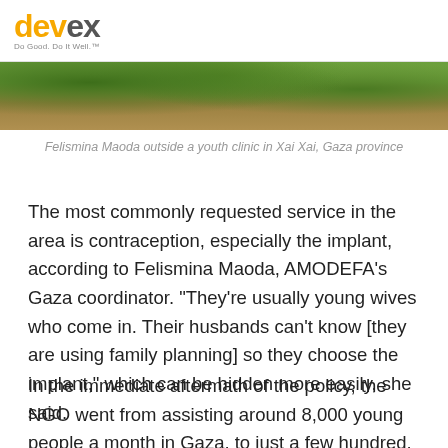devex — Do Good. Do It Well.™
[Figure (photo): Outdoor photo showing green grass and a dirt path, partial view, top portion of an image of Felismina Maoda outside a youth clinic in Xai Xai, Gaza province]
Felismina Maoda outside a youth clinic in Xai Xai, Gaza province
The most commonly requested service in the area is contraception, especially the implant, according to Felismina Maoda, AMODEFA's Gaza coordinator. "They're usually young wives who come in. Their husbands can't know [they are using family planning] so they choose the implant," which can be hidden more easily, she said.
In the immediate aftermath of the policy, the NGO went from assisting around 8,000 young people a month in Gaza, to just a few hundred. The handful of